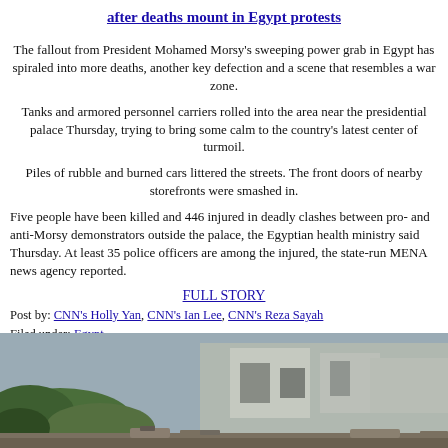after deaths mount in Egypt protests
The fallout from President Mohamed Morsy's sweeping power grab in Egypt has spiraled into more deaths, another key defection and a scene that resembles a war zone.
Tanks and armored personnel carriers rolled into the area near the presidential palace Thursday, trying to bring some calm to the country's latest center of turmoil.
Piles of rubble and burned cars littered the streets. The front doors of nearby storefronts were smashed in.
Five people have been killed and 446 injured in deadly clashes between pro- and anti-Morsy demonstrators outside the palace, the Egyptian health ministry said Thursday. At least 35 police officers are among the injured, the state-run MENA news agency reported.
FULL STORY
Post by: CNN's Holly Yan, CNN's Ian Lee, CNN's Reza Sayah
Filed under: Egypt
[Figure (photo): Photo of rubble and destruction near the presidential palace in Cairo, Egypt during protests]